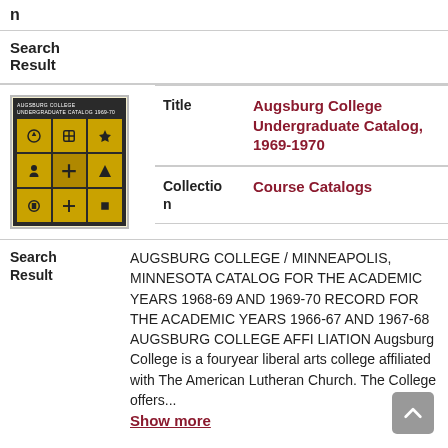n
Search Result
[Figure (illustration): Book cover of Augsburg College Undergraduate Catalog 1969-1970, with dark background and gold grid of 9 cells containing symbols]
Title
Augsburg College Undergraduate Catalog, 1969-1970
Collection
Course Catalogs
Search Result
AUGSBURG COLLEGE / MINNEAPOLIS, MINNESOTA CATALOG FOR THE ACADEMIC YEARS 1968-69 AND 1969-70 RECORD FOR THE ACADEMIC YEARS 1966-67 AND 1967-68 AUGSBURG COLLEGE AFFI LIATION Augsburg College is a fouryear liberal arts college affiliated with The American Lutheran Church. The College offers... Show more